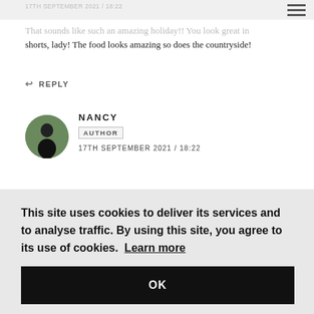17TH SEPTEMBER 2021 / 18:22
That sounds like such an amazing holiday!! You look great in shorts, lady! The food looks amazing so does the countryside!
↩ REPLY
[Figure (photo): Circular avatar photo of Nancy, showing a person in a green/outdoor setting]
NANCY
AUTHOR
17TH SEPTEMBER 2021 / 18:22
This site uses cookies to deliver its services and to analyse traffic. By using this site, you agree to its use of cookies. Learn more
OK
...would are standing still in time. We so need a break over here